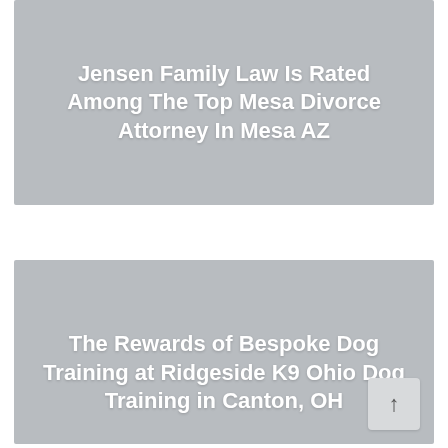[Figure (other): Gray card with white bold text: 'Jensen Family Law Is Rated Among The Top Mesa Divorce Attorney In Mesa AZ']
Jensen Family Law Is Rated Among The Top Mesa Divorce Attorney In Mesa AZ
[Figure (other): Gray card with white bold text: 'The Rewards of Bespoke Dog Training at Ridgeside K9 Ohio Dog Training in Canton, OH' and a scroll-to-top button]
The Rewards of Bespoke Dog Training at Ridgeside K9 Ohio Dog Training in Canton, OH